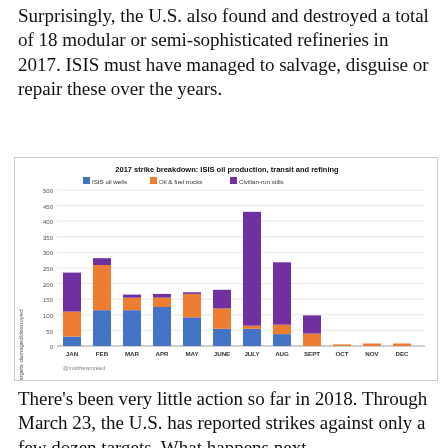Surprisingly, the U.S. also found and destroyed a total of 18 modular or semi-sophisticated refineries in 2017. ISIS must have managed to salvage, disguise or repair these over the years.
[Figure (stacked-bar-chart): 2017 strike breakdown: ISIS oil production, transit and refining]
There's been very little action so far in 2018. Through March 23, the U.S. has reported strikes against only a few dozen targets. What happens next